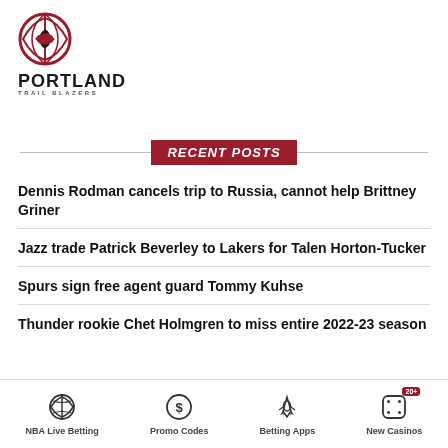[Figure (logo): Portland Trail Blazers logo with basketball icon and team name]
RECENT POSTS
Dennis Rodman cancels trip to Russia, cannot help Brittney Griner
Jazz trade Patrick Beverley to Lakers for Talen Horton-Tucker
Spurs sign free agent guard Tommy Kuhse
Thunder rookie Chet Holmgren to miss entire 2022-23 season
NBA Live Betting | Promo Codes | Betting Apps | New Casinos 20+